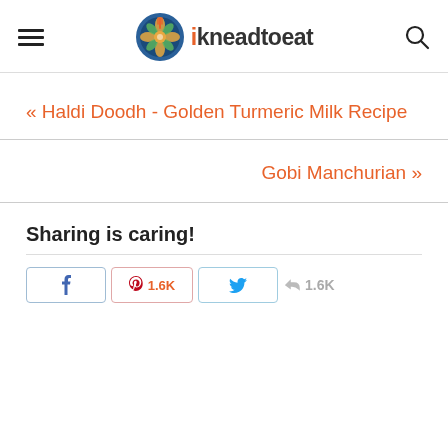ikneadtoeat
« Haldi Doodh - Golden Turmeric Milk Recipe
Gobi Manchurian »
Sharing is caring!
f  [Facebook share button]  |  P 1.6K [Pinterest share button]  |  [Twitter share button]  |  1.6K [share count]